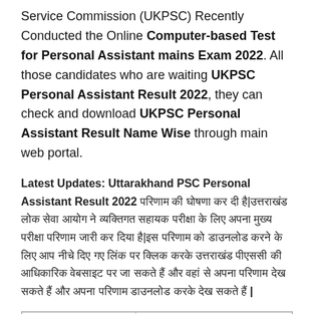Service Commission (UKPSC) Recently Conducted the Online Computer-based Test for Personal Assistant mains Exam 2022. All those candidates who are waiting UKPSC Personal Assistant Result 2022, they can check and download UKPSC Personal Assistant Result Name Wise through main web portal.
Latest Updates: Uttarakhand PSC Personal Assistant Result 2022 [Hindi text about result updates and related information]
| Organization | Uttarakhand Public |
| --- | --- |